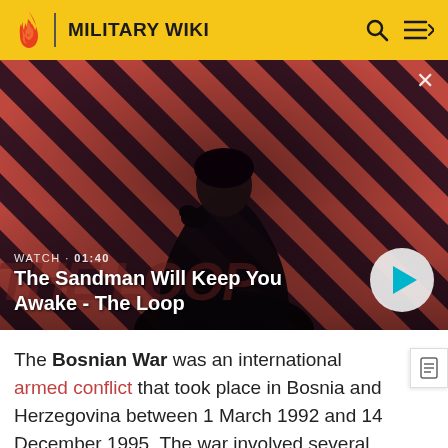MILITARY WIKI
[Figure (screenshot): Video thumbnail showing a dark-robed figure with a raven on shoulder against a red diagonal striped background. Text overlay: 'WATCH · 01:40' and 'The Sandman Will Keep You Awake - The Loop' with a play button.]
The Bosnian War was an international armed conflict that took place in Bosnia and Herzegovina between 1 March 1992 and 14 December 1995. The war involved several factions. The main belligerents were the forces of the Republic of Bosnia and Herzegovina and those of the